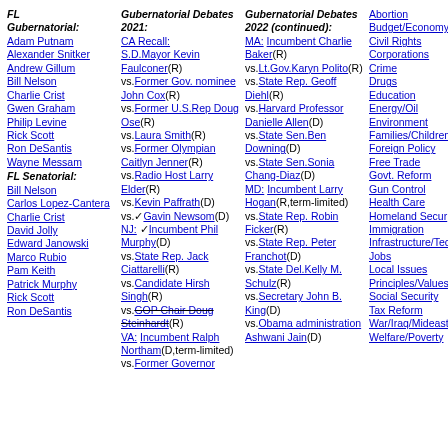FL Gubernatorial:
Adam Putnam
Alexander Snitker
Andrew Gillum
Bill Nelson
Charlie Crist
Gwen Graham
Philip Levine
Rick Scott
Ron DeSantis
Wayne Messam
FL Senatorial:
Bill Nelson
Carlos Lopez-Cantera
Charlie Crist
David Jolly
Edward Janowski
Marco Rubio
Pam Keith
Patrick Murphy
Rick Scott
Ron DeSantis
Gubernatorial Debates 2021:
CA Recall: S.D.Mayor Kevin Faulconer(R) vs.Former Gov. nominee John Cox(R) vs.Former U.S.Rep Doug Ose(R) vs.Laura Smith(R) vs.Former Olympian Caitlyn Jenner(R) vs.Radio Host Larry Elder(R) vs.Kevin Paffrath(D) vs.Gavin Newsom(D) NJ: Incumbent Phil Murphy(D) vs.State Rep. Jack Ciattarelli(R) vs.Candidate Hirsh Singh(R) vs.GOP Chair Doug Steinhardt(R) VA: Incumbent Ralph Northam(D,term-limited) vs.Former Governor
Gubernatorial Debates 2022 (continued):
MA: Incumbent Charlie Baker(R) vs.Lt.Gov.Karyn Polito(R) vs.State Rep. Geoff Diehl(R) vs.Harvard Professor Danielle Allen(D) vs.State Sen.Ben Downing(D) vs.State Sen.Sonia Chang-Diaz(D) MD: Incumbent Larry Hogan(R,term-limited) vs.State Rep. Robin Ficker(R) vs.State Rep. Peter Franchot(D) vs.State Del.Kelly M. Schulz(R) vs.Secretary John B. King(D) vs.Obama administration Ashwani Jain(D)
Abortion
Budget/Economy
Civil Rights
Corporations
Crime
Drugs
Education
Energy/Oil
Environment
Families/Children
Foreign Policy
Free Trade
Govt. Reform
Gun Control
Health Care
Homeland Security
Immigration
Infrastructure/Technology
Jobs
Local Issues
Principles/Values
Social Security
Tax Reform
War/Iraq/Mideast
Welfare/Poverty